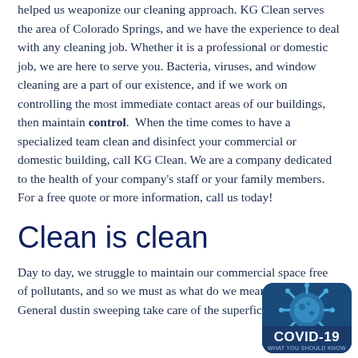helped us weaponize our cleaning approach. KG Clean serves the area of Colorado Springs, and we have the experience to deal with any cleaning job. Whether it is a professional or domestic job, we are here to serve you. Bacteria, viruses, and window cleaning are a part of our existence, and if we work on controlling the most immediate contact areas of our buildings, then maintain control.  When the time comes to have a specialized team clean and disinfect your commercial or domestic building, call KG Clean. We are a company dedicated to the health of your company's staff or your family members. For a free quote or more information, call us today!
Clean is clean
Day to day, we struggle to maintain our commercial space free of pollutants, and so we must as what do we mean by clean? General dusting sweeping take care of the superficial, and cl...
[Figure (other): COVID-19 badge/thumbnail in bottom-right corner showing a blue coronavirus illustration with text 'COVID-19' and 'WHAT YOU SHOULD KNOW']